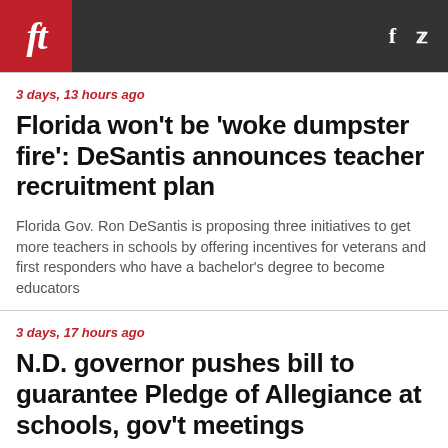ft  f  (twitter)
3 days, 13 hours ago
Florida won't be 'woke dumpster fire': DeSantis announces teacher recruitment plan
Florida Gov. Ron DeSantis is proposing three initiatives to get more teachers in schools by offering incentives for veterans and first responders who have a bachelor's degree to become educators
3 days, 17 hours ago
N.D. governor pushes bill to guarantee Pledge of Allegiance at schools, gov't meetings
North Dakota Gov. Doug Burgum said he is pushing the state Legislature to guarantee the opportunity to recite the Pledge of Allegiance in public schools and government meetings